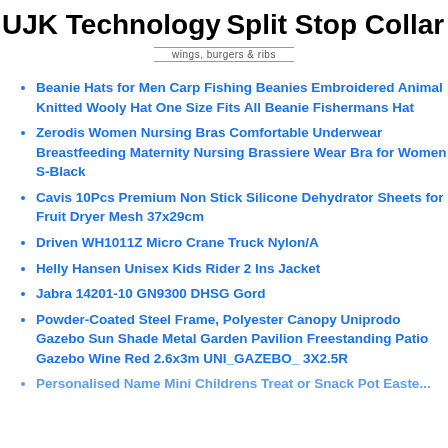UJK Technology Split Stop Collar 10mm
[Figure (logo): Logo with text 'wings, burgers & ribs' with horizontal lines above and below]
Beanie Hats for Men Carp Fishing Beanies Embroidered Animal Knitted Wooly Hat One Size Fits All Beanie Fishermans Hat
Zerodis Women Nursing Bras Comfortable Underwear Breastfeeding Maternity Nursing Brassiere Wear Bra for Women S-Black
Cavis 10Pcs Premium Non Stick Silicone Dehydrator Sheets for Fruit Dryer Mesh 37x29cm
Driven WH1011Z Micro Crane Truck Nylon/A
Helly Hansen Unisex Kids Rider 2 Ins Jacket
Jabra 14201-10 GN9300 DHSG Gord
Powder-Coated Steel Frame, Polyester Canopy Uniprodo Gazebo Sun Shade Metal Garden Pavilion Freestanding Patio Gazebo Wine Red 2.6x3m UNI_GAZEBO_ 3X2.5R
Personalised Name Mini Childrens Treat or Snack Pot Easte...